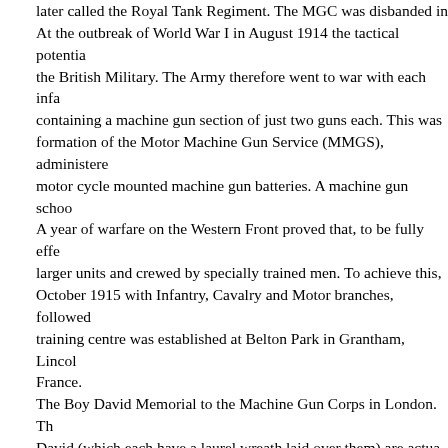later called the Royal Tank Regiment. The MGC was disbanded in... At the outbreak of World War I in August 1914 the tactical potential... the British Military. The Army therefore went to war with each infantry... containing a machine gun section of just two guns each. This was... formation of the Motor Machine Gun Service (MMGS), administered... motor cycle mounted machine gun batteries. A machine gun school... A year of warfare on the Western Front proved that, to be fully effective... larger units and crewed by specially trained men. To achieve this, the... October 1915 with Infantry, Cavalry and Motor branches, followed... training centre was established at Belton Park in Grantham, Lincolnshire... France. The Boy David Memorial to the Machine Gun Corps in London. The... David (which each have a laurel wreath laid over them) are actual... memorial: "Saul hath slain his thousands but David his tens of thousands"... memorial The Infantry Branch was by far the largest and was formed... machine gun sections to the MGC, these being grouped into Brigade... division. New companies were raised at Grantham. In 1917 a fourth... February and March 1918, the four companies in each division were... The Cavalry Branch consisted of Machine Gun Squadrons, one per... absorbing the MMGS, formed several types of units: motor cycle batteries... (LAMB) and light car patrols. As well as motor cycles, other vehicles... Model T cars. The Heavy Section was formed in March 1916, becoming... that year. Men of this branch crewed the first tanks in action at Flers... September 1916. In July 1917 the Heavy Branch separated from the MGC... called the Royal Tank Regiment. The MGC saw action in all the major... Belgium, Palestine, Mesopotamia, Egypt, Salonika, East Africa and...